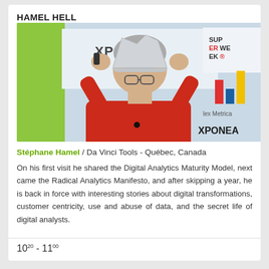HAMEL HELL
[Figure (photo): Stéphane Hamel wearing a tin foil hat on stage at a conference, with Exponea and Superweek logos in background]
Stéphane Hamel / Da Vinci Tools - Québec, Canada
On his first visit he shared the Digital Analytics Maturity Model, next came the Radical Analytics Manifesto, and after skipping a year, he is back in force with interesting stories about digital transformations, customer centricity, use and abuse of data, and the secret life of digital analysts.
10^20 - 11^00